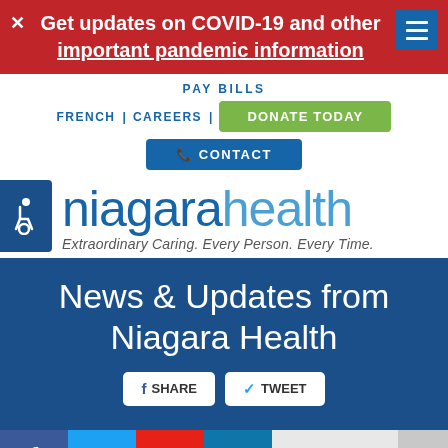Get updates on COVID-19 and other important pandemic information
PAY BILLS
FRENCH | CAREERS | DONATE TODAY
CONTACT
[Figure (logo): Niagara Health logo with tagline: Extraordinary Caring. Every Person. Every Time.]
News & Updates from Niagara Health
SHARE   TWEET
Making connections, even